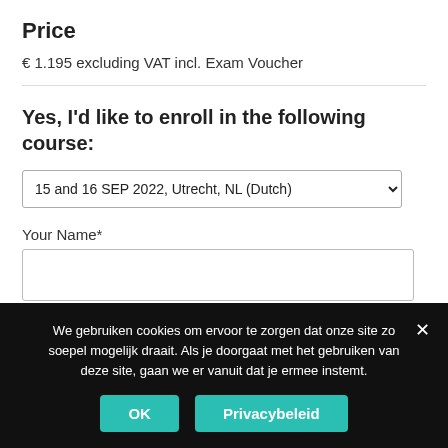Price
€ 1.195 excluding VAT incl. Exam Voucher
Yes, I'd like to enroll in the following course:
15 and 16 SEP 2022, Utrecht, NL (Dutch)
Your Name*
Your Email Adress*
We gebruiken cookies om ervoor te zorgen dat onze site zo soepel mogelijk draait. Als je doorgaat met het gebruiken van deze site, gaan we er vanuit dat je ermee instemt.